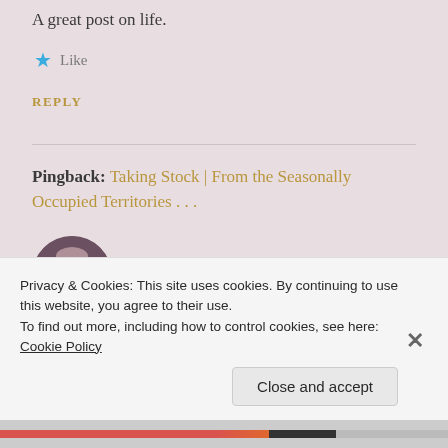A great post on life.
★ Like
REPLY
Pingback: Taking Stock | From the Seasonally Occupied Territories . . .
davesbabygirl
Privacy & Cookies: This site uses cookies. By continuing to use this website, you agree to their use.
To find out more, including how to control cookies, see here: Cookie Policy
Close and accept